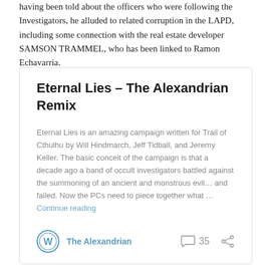having been told about the officers who were following the Investigators, he alluded to related corruption in the LAPD, including some connection with the real estate developer SAMSON TRAMMEL, who has been linked to Ramon Echavarria.
Eternal Lies – The Alexandrian Remix
Eternal Lies is an amazing campaign written for Trail of Cthulhu by Will Hindmarch, Jeff Tidball, and Jeremy Keller. The basic conceit of the campaign is that a decade ago a band of occult investigators battled against the summoning of an ancient and monstrous evil… and failed. Now the PCs need to piece together what … Continue reading
The Alexandrian   35